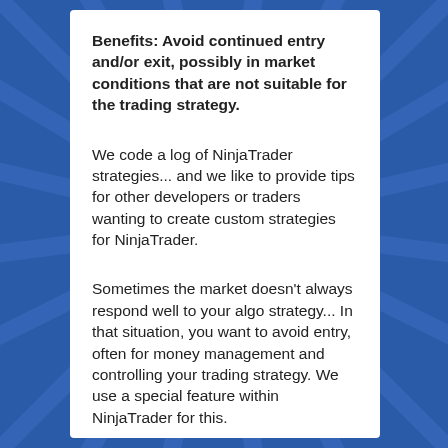Benefits: Avoid continued entry and/or exit, possibly in market conditions that are not suitable for the trading strategy.
We code a log of NinjaTrader strategies... and we like to provide tips for other developers or traders wanting to create custom strategies for NinjaTrader.
Sometimes the market doesn't always respond well to your algo strategy... In that situation, you want to avoid entry, often for money management and controlling your trading strategy. We use a special feature within NinjaTrader for this.
We include this feature within all of the Epic NinjaTrader Indicators and strategies but you can reference the same code below: